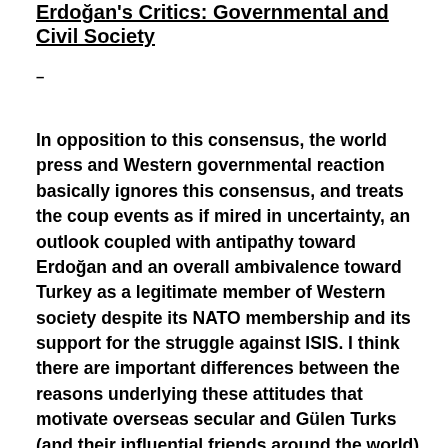Erdoğan's Critics: Governmental and Civil Society
–
In opposition to this consensus, the world press and Western governmental reaction basically ignores this consensus, and treats the coup events as if mired in uncertainty, an outlook coupled with antipathy toward Erdoğan and an overall ambivalence toward Turkey as a legitimate member of Western society despite its NATO membership and its support for the struggle against ISIS. I think there are important differences between the reasons underlying these attitudes that motivate overseas secular and Gülen Turks (and their influential friends around the world) and those that explain the somewhat convergent attitudes of Western